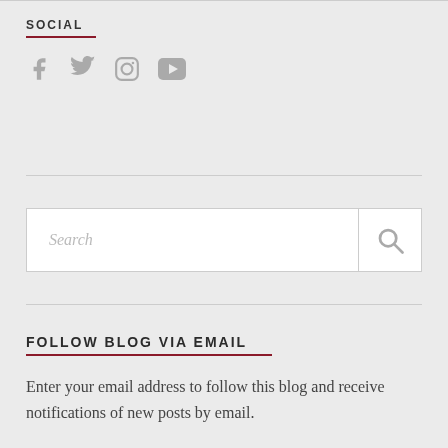SOCIAL
[Figure (illustration): Four social media icons: Facebook, Twitter, Instagram, YouTube in grey]
[Figure (illustration): Search bar with placeholder text 'Search' and a search icon button on the right]
FOLLOW BLOG VIA EMAIL
Enter your email address to follow this blog and receive notifications of new posts by email.